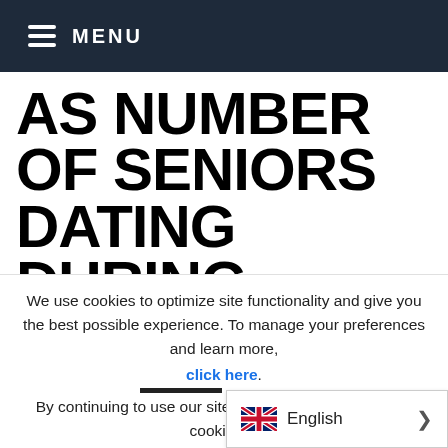MENU
AS NUMBER OF SENIORS DATING DURING THEIR GOLDEN YEARS INCREASES, PROTECTED DATING
We use cookies to optimize site functionality and give you the best possible experience. To manage your preferences and learn more, click here. By continuing to use our site, you consent to the use of cookies in according with our po
[Figure (infographic): UK flag icon with English language selector showing 'English' text and a right-pointing arrow chevron]